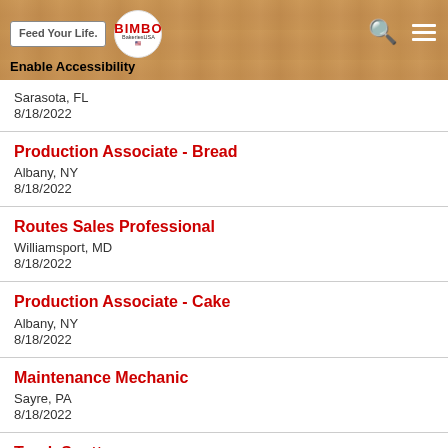Feed Your Life. BIMBO Bakeries USA - Enable Accessibility
Sarasota, FL
8/18/2022
Production Associate - Bread
Albany, NY
8/18/2022
Routes Sales Professional
Williamsport, MD
8/18/2022
Production Associate - Cake
Albany, NY
8/18/2022
Maintenance Mechanic
Sayre, PA
8/18/2022
Truck Spotter